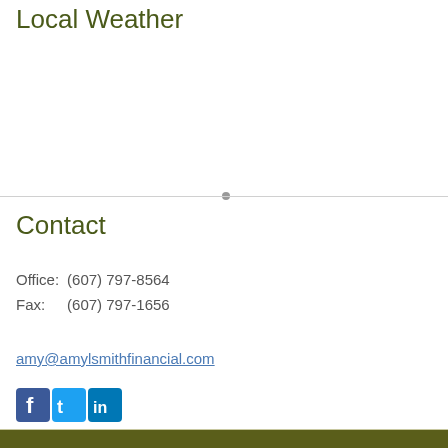Local Weather
Contact
Office:  (607) 797-8564
Fax:      (607) 797-1656
amy@amylsmithfinancial.com
[Figure (other): Social media icons: Facebook, Twitter, LinkedIn]